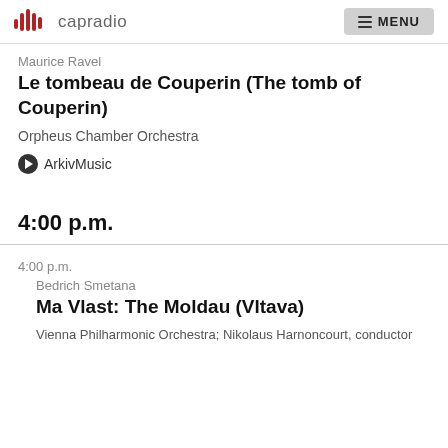capradio | MENU
Maurice Ravel
Le tombeau de Couperin (The tomb of Couperin)
Orpheus Chamber Orchestra
ArkivMusic
4:00 p.m.
4:00 p.m.
Bedrich Smetana
Ma Vlast: The Moldau (Vltava)
Vienna Philharmonic Orchestra; Nikolaus Harnoncourt, conductor